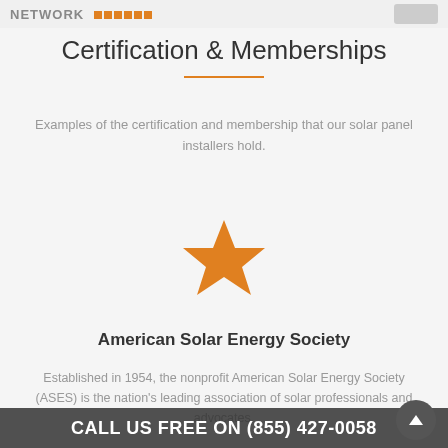NETWORK
Certification & Memberships
Examples of the certification and membership that our solar panel installers hold.
[Figure (illustration): Orange star icon representing the American Solar Energy Society membership]
American Solar Energy Society
Established in 1954, the nonprofit American Solar Energy Society (ASES) is the nation's leading association of solar professionals and advocates.
CALL US FREE ON (855) 427-0058